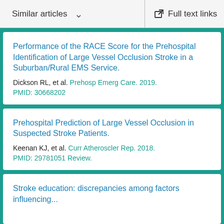Similar articles   Full text links
Performance of the RACE Score for the Prehospital Identification of Large Vessel Occlusion Stroke in a Suburban/Rural EMS Service.
Dickson RL, et al. Prehosp Emerg Care. 2019.
PMID: 30668202
Prehospital Prediction of Large Vessel Occlusion in Suspected Stroke Patients.
Keenan KJ, et al. Curr Atheroscler Rep. 2018.
PMID: 29781051 Review.
Stroke education: discrepancies among factors influencing...